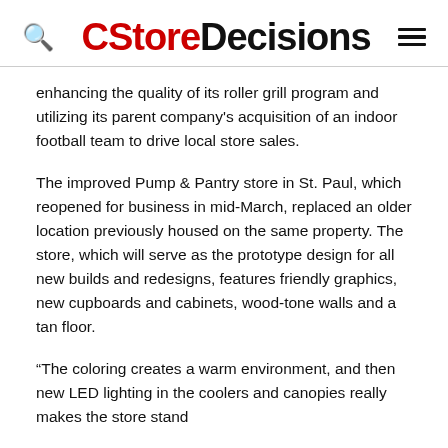CStoreDecisions
enhancing the quality of its roller grill program and utilizing its parent company's acquisition of an indoor football team to drive local store sales.
The improved Pump & Pantry store in St. Paul, which reopened for business in mid-March, replaced an older location previously housed on the same property. The store, which will serve as the prototype design for all new builds and redesigns, features friendly graphics, new cupboards and cabinets, wood-tone walls and a tan floor.
“The coloring creates a warm environment, and then new LED lighting in the coolers and canopies really makes the store stand